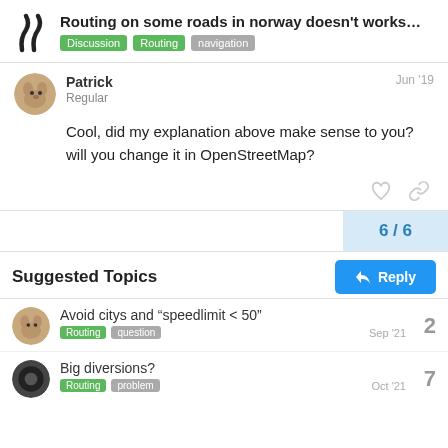Routing on some roads in norway doesn't works... Discussion Routing navigation
Patrick Regular Jun '19
Cool, did my explanation above make sense to you? will you change it in OpenStreetMap?
6 / 6
Reply
Suggested Topics
Avoid citys and "speedlimit < 50"  Routing  question  2  Sep '21
Big diversions?  Routing  problem  7  Oct '21